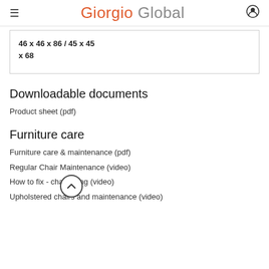Giorgio Global
46 x 46 x 86 / 45 x 45 x 68
Downloadable documents
Product sheet (pdf)
Furniture care
Furniture care & maintenance (pdf)
Regular Chair Maintenance (video)
How to fix - chair oiling (video)
Upholstered chairs and maintenance (video)